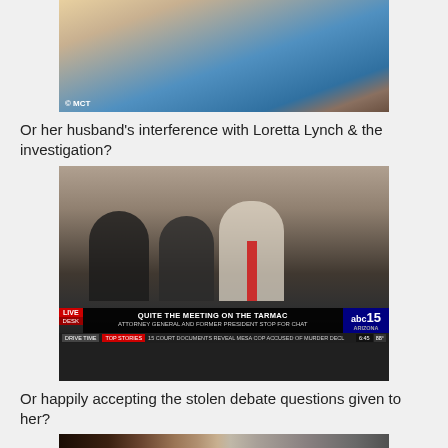[Figure (photo): Partial photo of two women, one in blue, one in beige/tan jacket, cropped at top. © MCT watermark.]
Or her husband's interference with Loretta Lynch & the investigation?
[Figure (screenshot): News broadcast screenshot showing people on a tarmac. Chyron reads: LIVE / QUITE THE MEETING ON THE TARMAC / ATTORNEY GENERAL AND FORMER PRESIDENT STOP FOR CHAT / abc15 ARIZONA / 6:45]
Or happily accepting the stolen debate questions given to her?
[Figure (photo): Photo of two women side by side — one Black woman on the left, one white woman with blonde-grey hair on the right, both with serious expressions.]